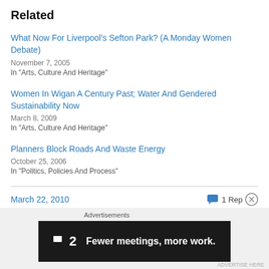Related
What Now For Liverpool’s Sefton Park? (A Monday Women Debate)
November 7, 2005
In "Arts, Culture And Heritage"
Women In Wigan A Century Past; Water And Gendered Sustainability Now
March 8, 2009
In "Arts, Culture And Heritage"
Planners Block Roads And Waste Energy
October 25, 2006
In "Politics, Policies And Process"
March 22, 2010   1 Reply
[Figure (infographic): Advertisement banner: dark background with Fewer2 logo and text 'Fewer meetings, more work.']